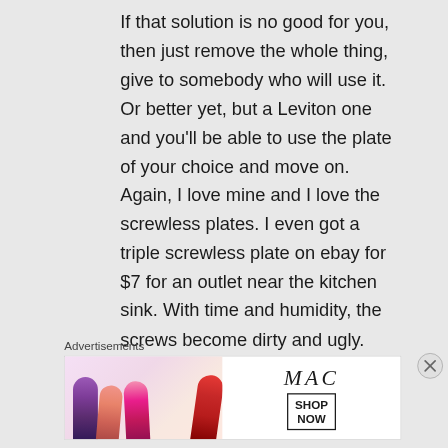If that solution is no good for you, then just remove the whole thing, give to somebody who will use it. Or better yet, but a Leviton one and you'll be able to use the plate of your choice and move on. Again, I love mine and I love the screwless plates. I even got a triple screwless plate on ebay for $7 for an outlet near the kitchen sink. With time and humidity, the screws become dirty and ugly.
★ Like
Advertisements
[Figure (photo): MAC Cosmetics advertisement banner showing colorful lipsticks (purple, pink, coral, hot pink, red) on the left side, MAC brand name in italic script in the center, and a 'SHOP NOW' box on the right.]